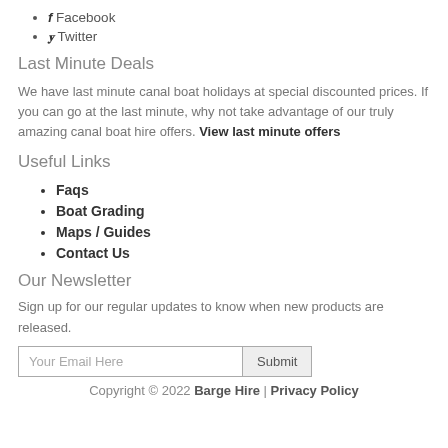Facebook
Twitter
Last Minute Deals
We have last minute canal boat holidays at special discounted prices. If you can go at the last minute, why not take advantage of our truly amazing canal boat hire offers. View last minute offers
Useful Links
Faqs
Boat Grading
Maps / Guides
Contact Us
Our Newsletter
Sign up for our regular updates to know when new products are released.
Copyright © 2022 Barge Hire | Privacy Policy